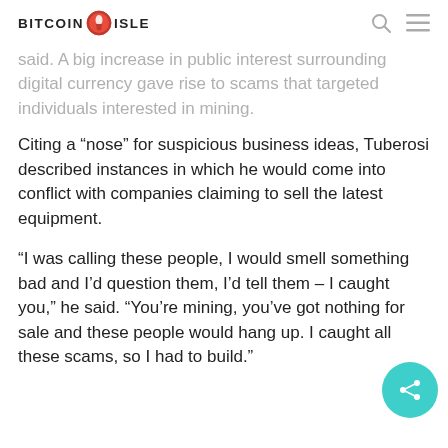BITCOIN ISLE
said. A big increase in public interest surrounding digital currency gave rise to scams that targeted individuals interested in mining.
Citing a “nose” for suspicious business ideas, Tuberosi described instances in which he would come into conflict with companies claiming to sell the latest equipment.
“I was calling these people, I would smell something bad and I’d question them, I’d tell them – I caught you,” he said. “You’re mining, you’ve got nothing for sale and these people would hang up. I caught all these scams, so I had to build.”